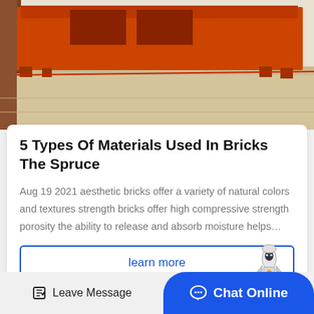[Figure (photo): Photo of orange industrial brick-making or construction machine on a concrete floor in a factory/warehouse setting.]
5 Types Of Materials Used In Bricks The Spruce
Aug 19 2021 aesthetic bricks offer a variety of natural colors and textures strength bricks offer high compressive strength porosity the ability to release and absorb moisture helps…
learn more
Leave Message  Chat Online